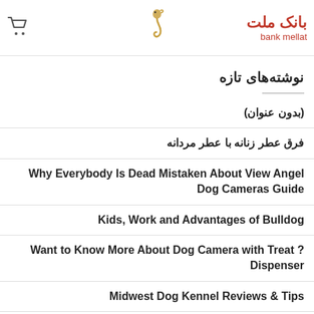[Figure (logo): Shopping cart icon on left, seahorse logo in center, Bank Mellat logo on right]
نوشته‌های تازه
(بدون عنوان)
فرق عطر زنانه با عطر مردانه
Why Everybody Is Dead Mistaken About View Angel Dog Cameras Guide
Kids, Work and Advantages of Bulldog
Want to Know More About Dog Camera with Treat ?Dispenser
Midwest Dog Kennel Reviews & Tips